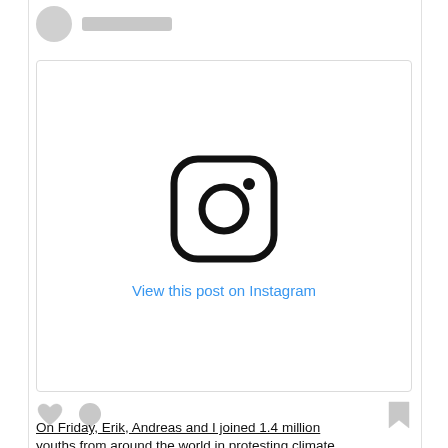[Figure (screenshot): Instagram post embed placeholder showing Instagram camera logo icon and 'View this post on Instagram' link. Above it is a user avatar circle and username bar. Below are like, comment, and bookmark icons.]
View this post on Instagram
On Friday, Erik, Andreas and I joined 1.4 million youths from around the world in protesting climate